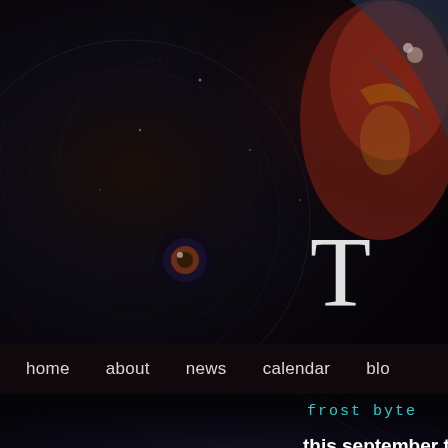[Figure (illustration): Dark fantasy/mystical website header image with ornamental circular patterns and a colorful creature (red, blue, gold tones) on the right side. Large white letter 'TH' visible on right portion of header.]
home   about   news   calendar   blo
frost byte
this september ttb will be writing e musicopinion fact fiction reviews a screening unseen excepts from th vaultsrecording live new songs o while you watch...yes thats rights